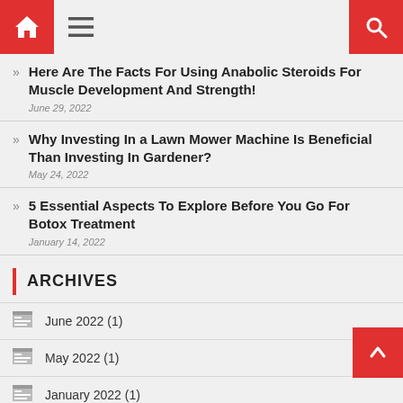Navigation bar with home, menu, and search icons
Here Are The Facts For Using Anabolic Steroids For Muscle Development And Strength! — June 29, 2022
Why Investing In a Lawn Mower Machine Is Beneficial Than Investing In Gardener? — May 24, 2022
5 Essential Aspects To Explore Before You Go For Botox Treatment — January 14, 2022
ARCHIVES
June 2022 (1)
May 2022 (1)
January 2022 (1)